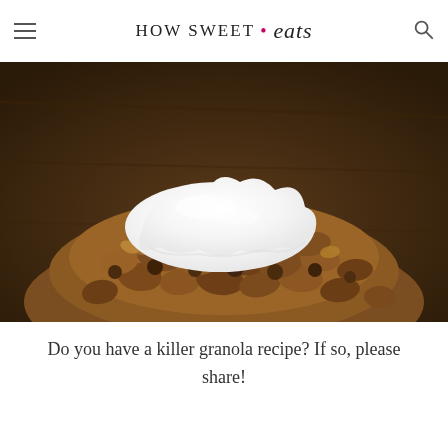HOW SWEET • eats
minutes, or until golden brown and crispy.
[Figure (photo): Close-up photo of granola topped with a large dollop of white cream or yogurt, served on a dark wooden surface.]
Do you have a killer granola recipe? If so, please share!